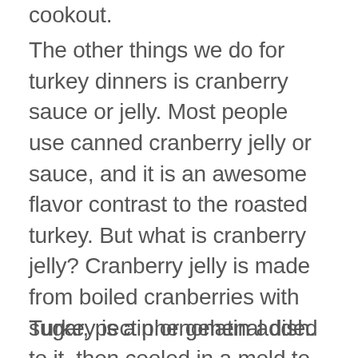cookout.
The other things we do for turkey dinners is cranberry sauce or jelly. Most people use canned cranberry jelly or sauce, and it is an awesome flavor contrast to the roasted turkey. But what is cranberry jelly? Cranberry jelly is made from boiled cranberries with sugar, pectin or gelatin added to it, then cooled in a mold to make it look great. It isn't hard to make from scratch, but fresh cranberries are not available year around, so using canned cranberries is what most people do.
Turkey is a phenomenal dish.